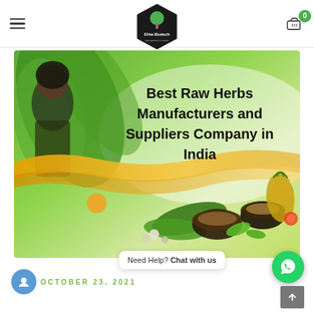Elita Biotech — navigation header with hamburger menu and cart (0 items)
[Figure (photo): Promotional banner for Elita Biotech showing a woman with herbs, green leaves, various raw herbs and spices in bowls, and a pineapple. Text overlay reads 'Best Raw Herbs Manufacturers and Suppliers Company in India'.]
Best Raw Herbs Manufacturers and Suppliers Company in India
OCTOBER 23, 2021
Need Help? Chat with us